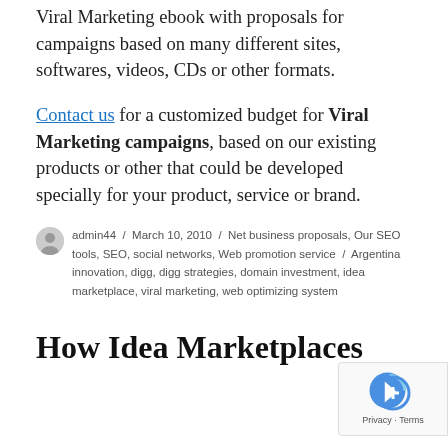Viral Marketing ebook with proposals for campaigns based on many different sites, softwares, videos, CDs or other formats.
Contact us for a customized budget for Viral Marketing campaigns, based on our existing products or other that could be developed specially for your product, service or brand.
admin44 / March 10, 2010 / Net business proposals, Our SEO tools, SEO, social networks, Web promotion service / Argentina innovation, digg, digg strategies, domain investment, idea marketplace, viral marketing, web optimizing system
How Idea Marketplaces Work